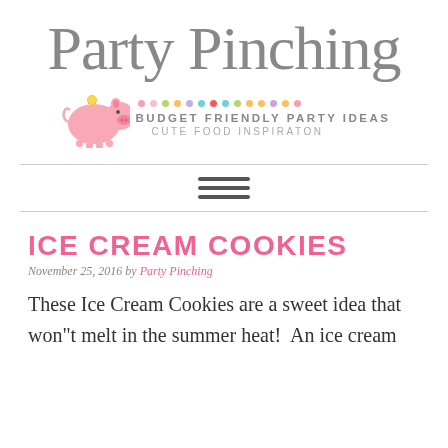Party Pinching
[Figure (logo): Cartoon pink piggy bank with coin on top, multicolored dots row above, tagline 'BUDGET FRIENDLY PARTY IDEAS' and 'CUTE FOOD INSPIRATON']
[Figure (other): Hamburger menu icon (three horizontal lines)]
ICE CREAM COOKIES
November 25, 2016 by Party Pinching
These Ice Cream Cookies are a sweet idea that won"t melt in the summer heat!  An ice cream